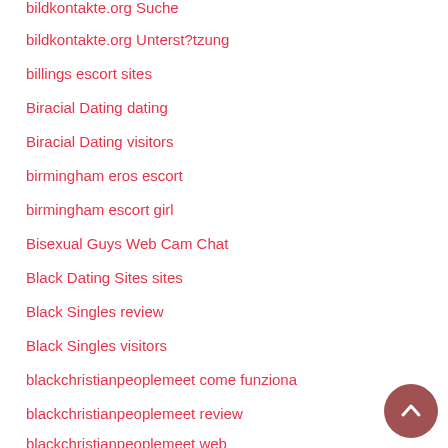bildkontakte.org Suche
bildkontakte.org Unterst?tzung
billings escort sites
Biracial Dating dating
Biracial Dating visitors
birmingham eros escort
birmingham escort girl
Bisexual Guys Web Cam Chat
Black Dating Sites sites
Black Singles review
Black Singles visitors
blackchristianpeoplemeet come funziona
blackchristianpeoplemeet review
blackchristianpeoplemeet web